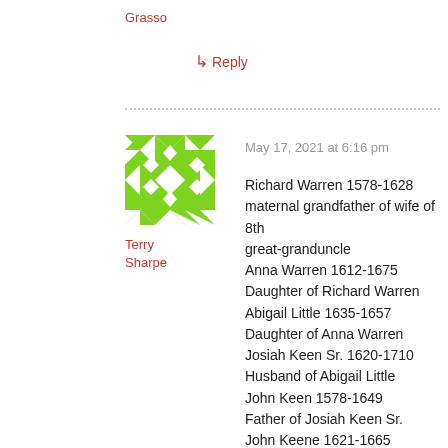Grasso
↳ Reply
[Figure (illustration): Green and white geometric avatar with diamond and triangle patterns]
Terry Sharpe
May 17, 2021 at 6:16 pm
Richard Warren 1578-1628 maternal grandfather of wife of 8th great-granduncle
Anna Warren 1612-1675
Daughter of Richard Warren
Abigail Little 1635-1657
Daughter of Anna Warren
Josiah Keen Sr. 1620-1710
Husband of Abigail Little
John Keen 1578-1649
Father of Josiah Keen Sr.
John Keene 1621-1665
Son of John Keen